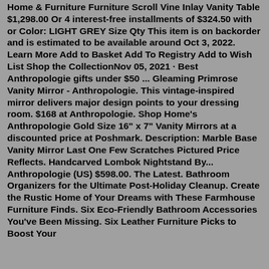Home & Furniture Furniture Scroll Vine Inlay Vanity Table $1,298.00 Or 4 interest-free installments of $324.50 with or Color: LIGHT GREY Size Qty This item is on backorder and is estimated to be available around Oct 3, 2022. Learn More Add to Basket Add To Registry Add to Wish List Shop the CollectionNov 05, 2021 · Best Anthropologie gifts under $50 ... Gleaming Primrose Vanity Mirror - Anthropologie. This vintage-inspired mirror delivers major design points to your dressing room. $168 at Anthropologie. Shop Home's Anthropologie Gold Size 16" x 7" Vanity Mirrors at a discounted price at Poshmark. Description: Marble Base Vanity Mirror Last One Few Scratches Pictured Price Reflects. Handcarved Lombok Nightstand By... Anthropologie (US) $598.00. The Latest. Bathroom Organizers for the Ultimate Post-Holiday Cleanup. Create the Rustic Home of Your Dreams with These Farmhouse Furniture Finds. Six Eco-Friendly Bathroom Accessories You've Been Missing. Six Leather Furniture Picks to Boost Your Decorjz Style. Dept 24, 2023 · Character-Driven...